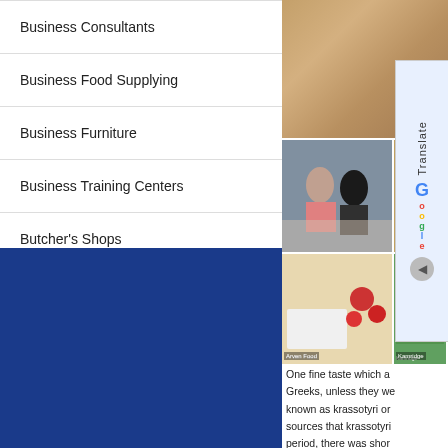Business Consultants
Business Food Supplying
Business Furniture
Business Training Centers
Butcher's Shops
Cafeterias
[Figure (photo): Photo of bread/pastries on a table, top of right column]
[Figure (photo): Photo of two people at a food stall, middle right]
[Figure (photo): Photo of food items (tomatoes and containers), bottom right]
[Figure (screenshot): Google Translate widget on right side]
One fine taste which a Greeks, unless they we known as krassotyri or sources that krassotyri period, there was shor production. As a result